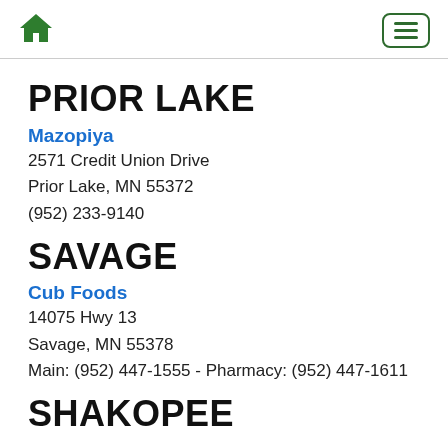Home | Menu
PRIOR LAKE
Mazopiya
2571 Credit Union Drive
Prior Lake, MN 55372
(952) 233-9140
SAVAGE
Cub Foods
14075 Hwy 13
Savage, MN 55378
Main: (952) 447-1555 - Pharmacy: (952) 447-1611
SHAKOPEE